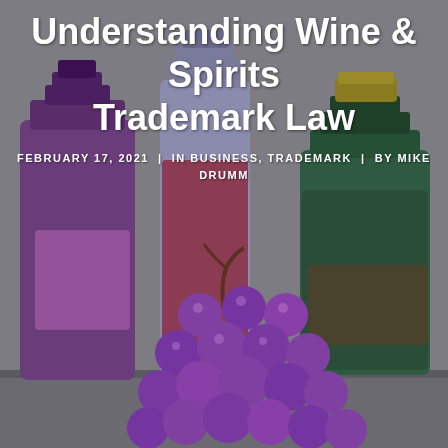[Figure (illustration): Illustration of wine and spirits bottles (purple, red/clear, and dark green) with a large bunch of purple grapes in the foreground, set against a gray background.]
Understanding Wine & Spirits Trademark Law
FEBRUARY 17, 2021  |  IN BUSINESS, TRADEMARK  |  BY MIKE DRUMM